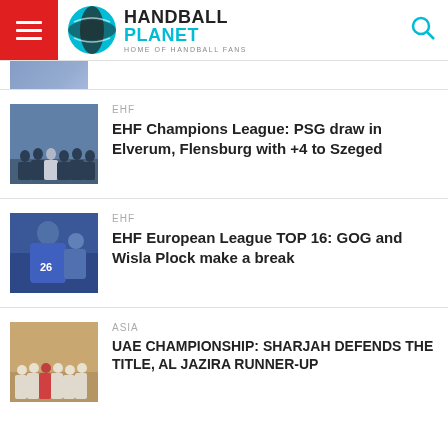Handball Planet — Home of Handball Fans
[Figure (photo): Partial thumbnail image at top of feed]
[Figure (photo): Handball team photo for EHF Champions League article]
EHF
EHF Champions League: PSG draw in Elverum, Flensburg with +4 to Szeged
[Figure (photo): Player number 26 in blue jersey for EHF European League article]
EHF
EHF European League TOP 16: GOG and Wisla Plock make a break
[Figure (photo): UAE championship team photo]
ASIA
UAE CHAMPIONSHIP: SHARJAH DEFENDS THE TITLE, AL JAZIRA RUNNER-UP